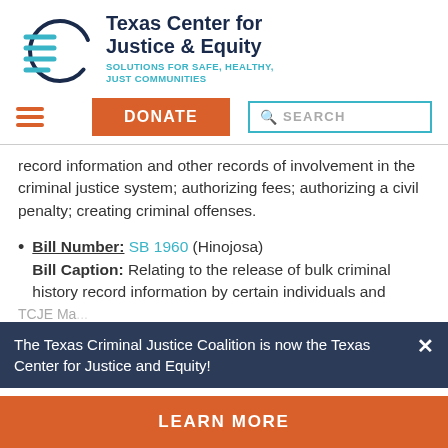[Figure (logo): Texas Center for Justice and Equity logo: circular emblem with horizontal lines and a partial circle]
Texas Center for Justice & Equity
SOLUTIONS FOR SAFE, HEALTHY, JUST COMMUNITIES
[Figure (other): Navigation bar with hamburger menu, DONATE button, and SEARCH box]
record information and other records of involvement in the criminal justice system; authorizing fees; authorizing a civil penalty; creating criminal offenses.
Bill Number: SB 1960 (Hinojosa) Bill Caption: Relating to the release of bulk criminal history record information by certain individuals and
TCJE Ma...
The Texas Criminal Justice Coalition is now the Texas Center for Justice and Equity!
LEARN MORE